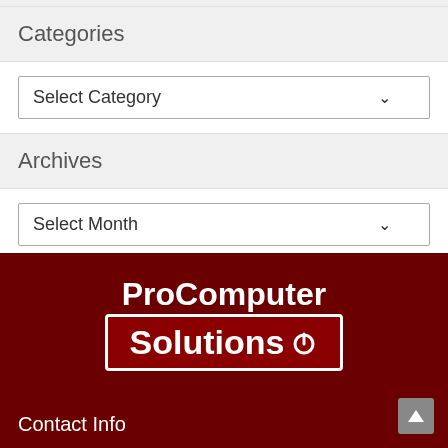Categories
Select Category
Archives
Select Month
[Figure (logo): ProComputer Solutions logo with power button icon on dark red background]
Contact Info